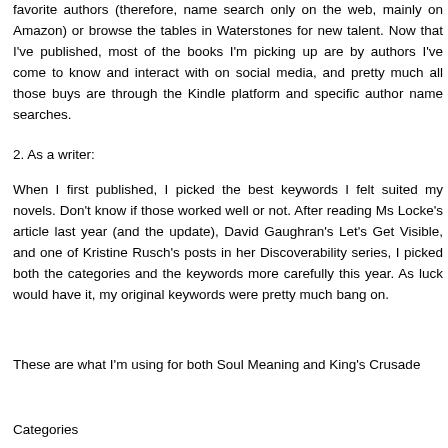favorite authors (therefore, name search only on the web, mainly on Amazon) or browse the tables in Waterstones for new talent. Now that I've published, most of the books I'm picking up are by authors I've come to know and interact with on social media, and pretty much all those buys are through the Kindle platform and specific author name searches.
2. As a writer:
When I first published, I picked the best keywords I felt suited my novels. Don't know if those worked well or not. After reading Ms Locke's article last year (and the update), David Gaughran's Let's Get Visible, and one of Kristine Rusch's posts in her Discoverability series, I picked both the categories and the keywords more carefully this year. As luck would have it, my original keywords were pretty much bang on.
These are what I'm using for both Soul Meaning and King's Crusade
Categories